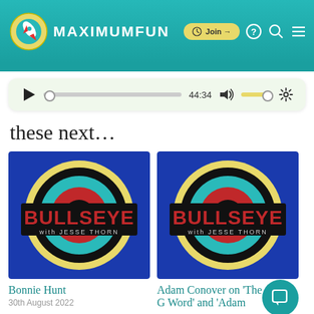MAXIMUMFUN — Join → ? Search Menu
[Figure (screenshot): Audio player with play button, progress bar showing 44:34, volume control, and settings gear icon]
these next...
[Figure (logo): Bullseye with Jesse Thorn podcast cover art — blue background with concentric circles in yellow, black, teal, red and black banner reading BULLSEYE with JESSE THORN]
Bonnie Hunt
30th August 2022
[Figure (logo): Bullseye with Jesse Thorn podcast cover art — blue background with concentric circles in yellow, black, teal, red and black banner reading BULLSEYE with JESSE THORN]
Adam Conover on 'The G Word' and 'Adam